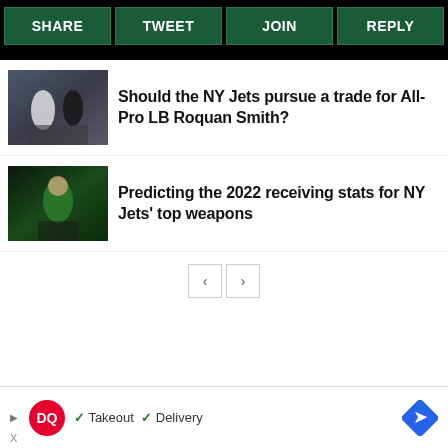SHARE | TWEET | JOIN | REPLY
Should the NY Jets pursue a trade for All-Pro LB Roquan Smith?
Predicting the 2022 receiving stats for NY Jets' top weapons
[Figure (illustration): Advertisement banner for Dairy Queen showing logo, checkmarks for Takeout and Delivery, and navigation arrow icon]